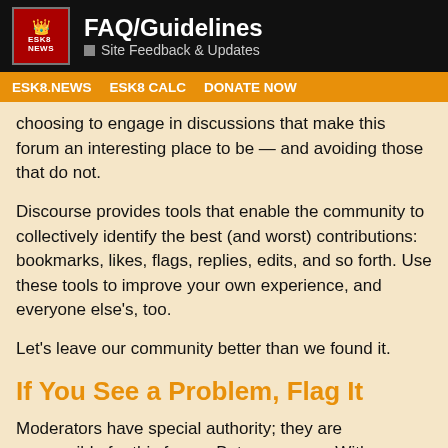FAQ/Guidelines — Site Feedback & Updates
choosing to engage in discussions that make this forum an interesting place to be — and avoiding those that do not.
Discourse provides tools that enable the community to collectively identify the best (and worst) contributions: bookmarks, likes, flags, replies, edits, and so forth. Use these tools to improve your own experience, and everyone else's, too.
Let's leave our community better than we found it.
If You See a Problem, Flag It
Moderators have special authority; they are responsible for this forum. But so are you. With your help, moderators can be community facilitators, not just janitors or police.
When you see bad behavior, don't reply. It behavior by acknowledging it, consumes y
1 / 2